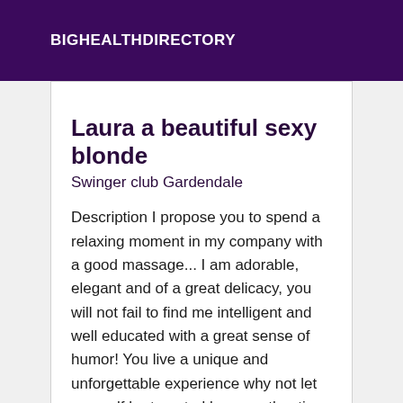BIGHEALTHDIRECTORY
Laura a beautiful sexy blonde
Swinger club Gardendale
Description I propose you to spend a relaxing moment in my company with a good massage... I am adorable, elegant and of a great delicacy, you will not fail to find me intelligent and well educated with a great sense of humor! You live a unique and unforgettable experience why not let yourself be tempted by an authentic moment! KISS.
Online